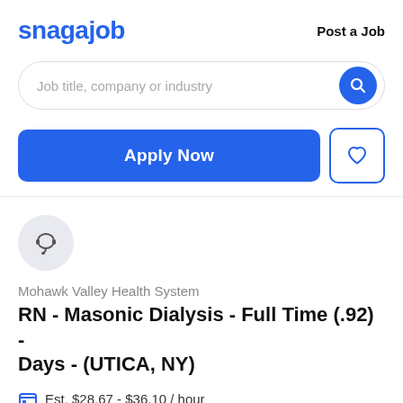snagajob
Post a Job
Job title, company or industry
Apply Now
Mohawk Valley Health System
RN - Masonic Dialysis - Full Time (.92) - Days - (UTICA, NY)
Est. $28.67 - $36.10 / hour